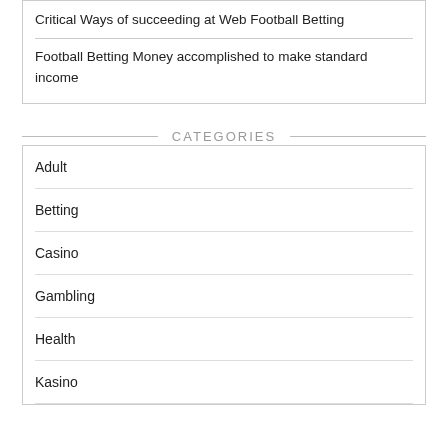Critical Ways of succeeding at Web Football Betting
Football Betting Money accomplished to make standard income
CATEGORIES
Adult
Betting
Casino
Gambling
Health
Kasino